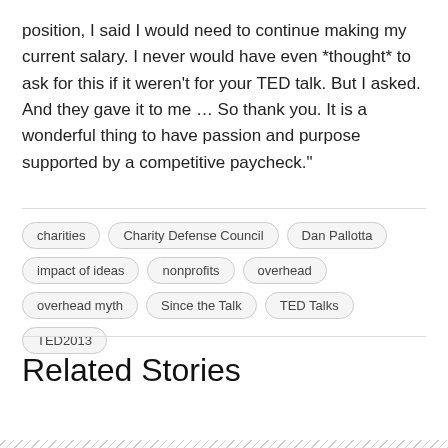position, I said I would need to continue making my current salary. I never would have even *thought* to ask for this if it weren't for your TED talk. But I asked. And they gave it to me … So thank you. It is a wonderful thing to have passion and purpose supported by a competitive paycheck."
charities
Charity Defense Council
Dan Pallotta
impact of ideas
nonprofits
overhead
overhead myth
Since the Talk
TED Talks
TED2013
Related Stories